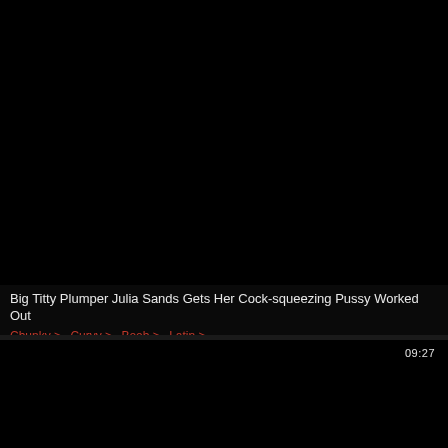[Figure (screenshot): Black video thumbnail for first video card]
Big Titty Plumper Julia Sands Gets Her Cock-squeezing Pussy Worked Out
Chunky >   Curvy >   Boob >   Latin >
[Figure (screenshot): Black video thumbnail for second video card with duration badge 09:27]